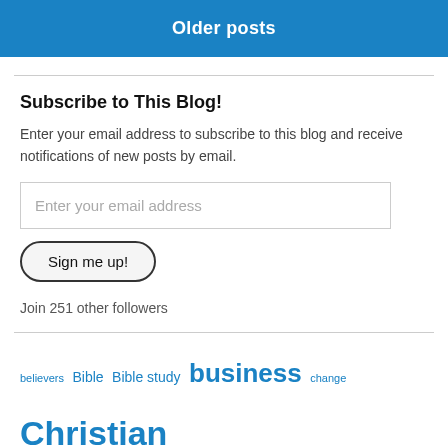Older posts
Subscribe to This Blog!
Enter your email address to subscribe to this blog and receive notifications of new posts by email.
Enter your email address
Sign me up!
Join 251 other followers
believers  Bible  Bible study  business  change  Christian  faith